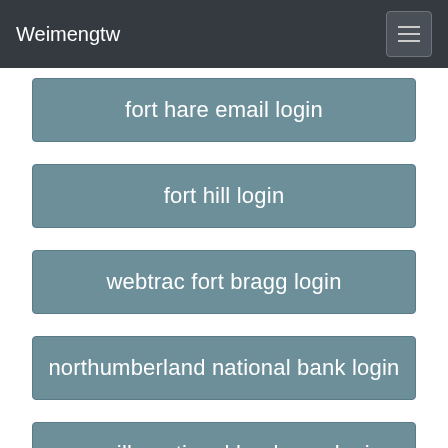Weimengtw
fort hare email login
fort hill login
webtrac fort bragg login
northumberland national bank login
amarillo national bank app login